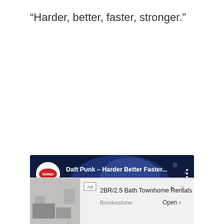“Harder, better, faster, stronger.”
[Figure (screenshot): YouTube video card for Daft Punk - Harder Better Faster... with Rhino Records logo on dark blue background]
[Figure (screenshot): Advertisement banner: 2BR/2.5 Bath Townhome Rentals by Brookestone with Open button and room photo]